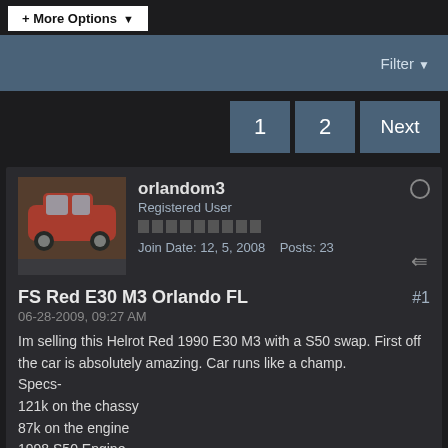+ More Options
Filter
1  2  Next
orlandom3
Registered User
Join Date: 12, 5, 2008  Posts: 23
FS Red E30 M3 Orlando FL  #1
06-28-2009, 09:27 AM
Im selling this Helrot Red 1990 E30 M3 with a S50 swap. First off the car is absolutely amazing. Car runs like a champ.
Specs-
121k on the chassy
87k on the engine
1998 S50 Engine
AC works great
Interior is in great condition
E30 M3 Transmission